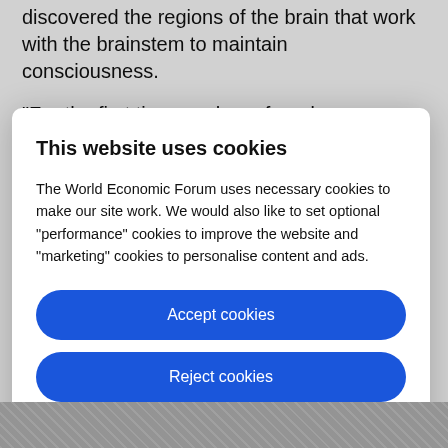discovered the regions of the brain that work with the brainstem to maintain consciousness.
“For the first time, we have found a connection
This website uses cookies
The World Economic Forum uses necessary cookies to make our site work. We would also like to set optional “performance” cookies to improve the website and “marketing” cookies to personalise content and ads.
Accept cookies
Reject cookies
Cookie settings
[Figure (photo): Partial black and white photograph visible at the bottom of the page behind the modal overlay]